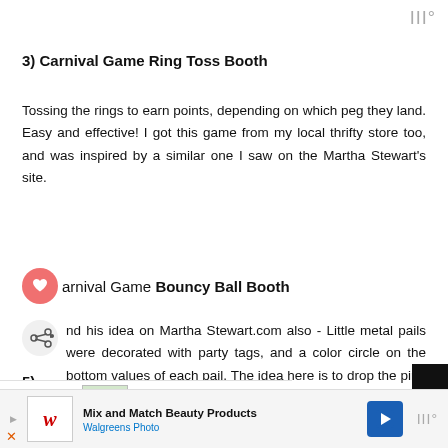III°
3) Carnival Game Ring Toss Booth
Tossing the rings to earn points, depending on which peg they land. Easy and effective! I got this game from my local thrifty store too, and was inspired by a similar one I saw on the Martha Stewart's site.
arnival Game Bouncy Ball Booth
nd his idea on Martha Stewart.com also - Little metal pails were decorated with party tags, and a color circle on the bottom values of each pail. The idea here is to drop the ping pong balls from a height, and get them to land inside the pails. Sounds easier than it actually is! :)
[Figure (screenshot): What's Next bar showing Big Top Circus Birthday Par... with thumbnail image]
[Figure (screenshot): Scroll to top button (black, arrow up)]
[Figure (screenshot): Advertisement bar: Walgreens Photo - Mix and Match Beauty Products with navigation icon and III° logo]